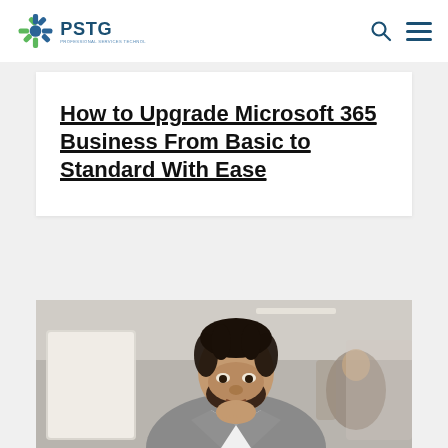PSTG - Professional Services Technology Group
How to Upgrade Microsoft 365 Business From Basic to Standard With Ease
[Figure (photo): A Black man with dreadlocks, wearing a grey blazer over a white shirt, sitting at a desk in an office environment, resting his chin on his hand and looking thoughtfully at a computer monitor. Other office workers are visible in the blurred background.]